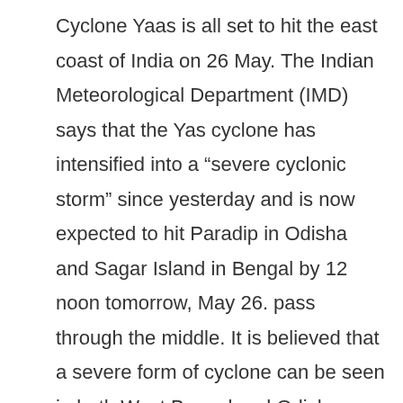Cyclone Yaas is all set to hit the east coast of India on 26 May. The Indian Meteorological Department (IMD) says that the Yas cyclone has intensified into a “severe cyclonic storm” since yesterday and is now expected to hit Paradip in Odisha and Sagar Island in Bengal by 12 noon tomorrow, May 26. pass through the middle. It is believed that a severe form of cyclone can be seen in both West Bengal and Odisha, although the governments are taking necessary steps before the cyclone arrives. There are a few websites and apps that can help you track Cyclone Yas and track its motion in real time. Through this article, we are going to give you information about them.